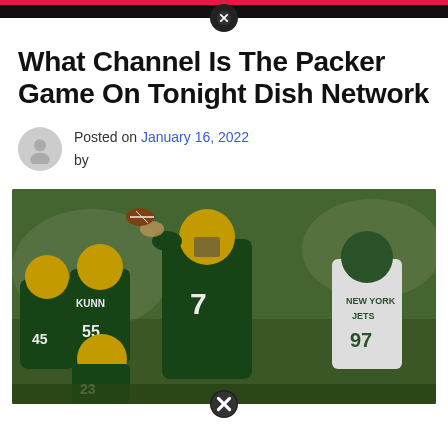What Channel Is The Packer Game On Tonight Dish Network
Posted on January 16, 2022 by
[Figure (photo): Green Bay Packers quarterback wearing #7 jersey in dark green uniform preparing to throw a pass, with teammates and New York Jets defenders visible around him during a football game.]